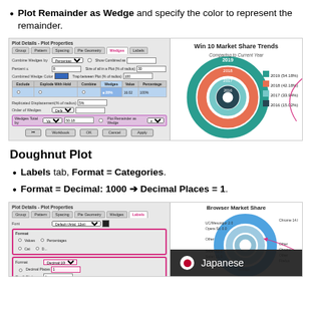Plot Remainder as Wedge and specify the color to represent the remainder.
[Figure (screenshot): Screenshot of Plot Details - Plot Properties dialog with Wedges tab active, showing Combine Wedges, Percentage fields, a table grid with Exclude/Explode/Combine/Wedges columns, and Plot Remainder as Wedge highlighted in pink. Right side shows a multi-ring donut chart titled 'Win 10 Market Share Trends' with rings for 2019, 2018, 2017, 2016.]
Doughnut Plot
Labels tab, Format = Categories.
Format = Decimal: 1000 → Decimal Places = 1.
[Figure (screenshot): Screenshot of Plot Details - Plot Properties dialog with Labels tab active, showing Font, Format section with Values/Percentages/Categories checkboxes, Format = Decimal:1000 and Decimal Places = 1 fields highlighted in pink. Right side shows a Browser Market Share multi-ring donut chart. Japanese language banner overlay at bottom left.]